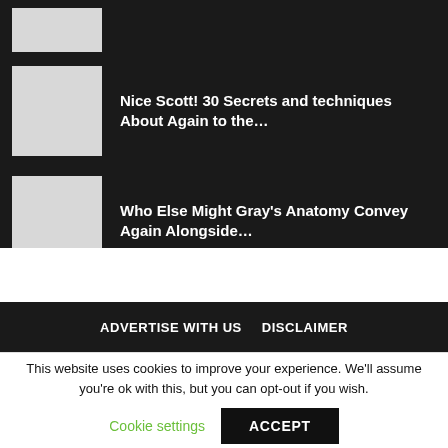[Figure (photo): Small grey thumbnail image placeholder at top]
Nice Scott! 30 Secrets and techniques About Again to the…
Who Else Might Gray's Anatomy Convey Again Alongside…
ADVERTISE WITH US   DISCLAIMER
This website uses cookies to improve your experience. We'll assume you're ok with this, but you can opt-out if you wish.
Cookie settings   ACCEPT